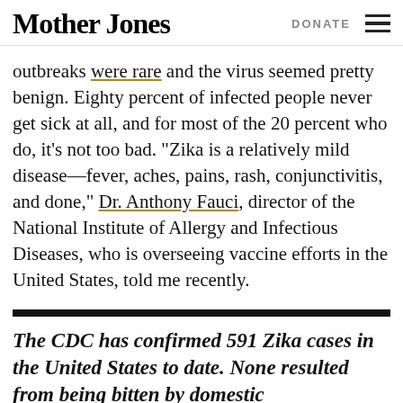Mother Jones | DONATE
outbreaks were rare and the virus seemed pretty benign. Eighty percent of infected people never get sick at all, and for most of the 20 percent who do, it’s not too bad. “Zika is a relatively mild disease—fever, aches, pains, rash, conjunctivitis, and done,” Dr. Anthony Fauci, director of the National Institute of Allergy and Infectious Diseases, who is overseeing vaccine efforts in the United States, told me recently.
The CDC has confirmed 591 Zika cases in the United States to date. None resulted from being bitten by domestic mosquitoes.